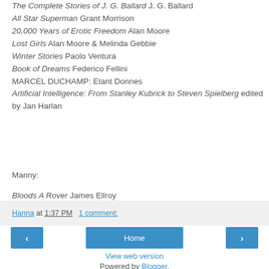The Complete Stories of J. G. Ballard J. G. Ballard
All Star Superman Grant Morrison
20,000 Years of Erotic Freedom Alan Moore
Lost Girls Alan Moore & Melinda Gebbie
Winter Stories Paolo Ventura
Book of Dreams Federico Fellini
MARCEL DUCHAMP: Etant Donnes
Artificial Intelligence: From Stanley Kubrick to Steven Spielberg edited by Jan Harlan
Manny:
Bloods A Rover James Ellroy
Hanna at 1:37 PM   1 comment:
Home
View web version
Powered by Blogger.